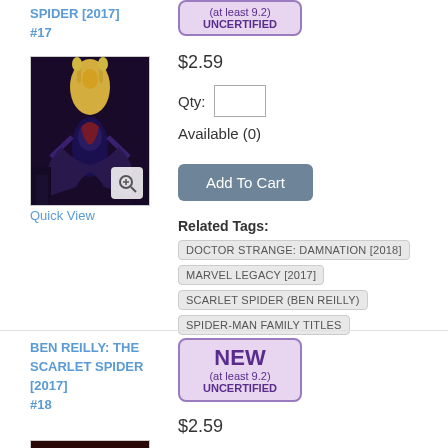SPIDER [2017] #17
[Figure (illustration): Comic book cover for Ben Reilly: The Scarlet Spider 2017 #17, showing a superhero in a dark costume against a city background with street lamps]
Quick View
(at least 9.2) UNCERTIFIED
$2.59
Qty:
Available (0)
Add To Cart
Related Tags: DOCTOR STRANGE: DAMNATION [2018] MARVEL LEGACY [2017] SCARLET SPIDER (BEN REILLY) SPIDER-MAN FAMILY TITLES
BEN REILLY: THE SCARLET SPIDER [2017] #18
[Figure (illustration): Comic book cover for Ben Reilly: The Scarlet Spider 2017 #18, dark red toned cover]
NEW (at least 9.2) UNCERTIFIED
$2.59